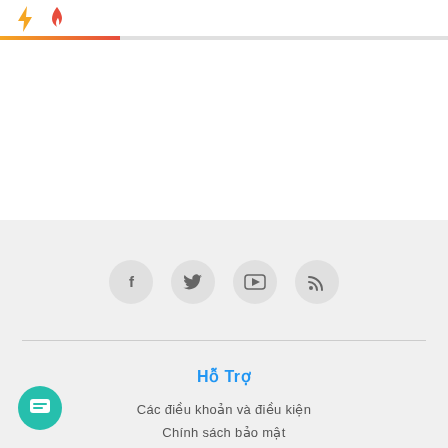[Figure (logo): Lightning bolt icon (yellow) and flame icon (red/orange) used as website header icons, with a colored progress/accent bar below]
[Figure (infographic): Row of four social media icon circles: Facebook (f), Twitter (bird), YouTube (play button), RSS (signal waves)]
Hỗ Trợ
Các điều khoản và điều kiện
Chính sách bảo mật
Liên Hệ
Trách Nhiệm